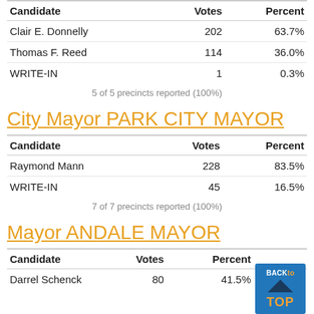| Candidate | Votes | Percent |
| --- | --- | --- |
| Clair E. Donnelly | 202 | 63.7% |
| Thomas F. Reed | 114 | 36.0% |
| WRITE-IN | 1 | 0.3% |
5 of 5 precincts reported (100%)
City Mayor PARK CITY MAYOR
| Candidate | Votes | Percent |
| --- | --- | --- |
| Raymond Mann | 228 | 83.5% |
| WRITE-IN | 45 | 16.5% |
7 of 7 precincts reported (100%)
Mayor ANDALE MAYOR
| Candidate | Votes | Percent |
| --- | --- | --- |
| Darrel Schenck | 80 | 41.5% |